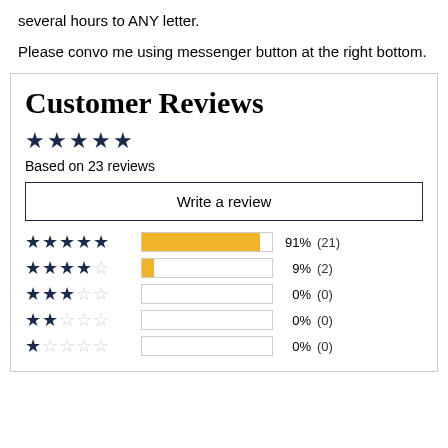several hours to ANY letter.
Please convo me using messenger button at the right bottom.
Customer Reviews
Based on 23 reviews
Write a review
[Figure (bar-chart): Customer Review Rating Distribution]